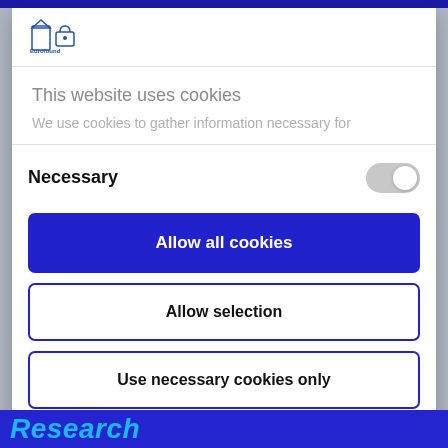[Figure (screenshot): Cookie consent modal overlay on a website. Shows Eurofound logo, 'This website uses cookies' title, partial description text, a Necessary toggle switch, three buttons: 'Allow all cookies' (blue filled), 'Allow selection' (outline), 'Use necessary cookies only' (outline), and 'Powered by Cookiebot by Usercentrics' footer. Behind the modal, a partial 'Research' text in blue italic is visible at the bottom.]